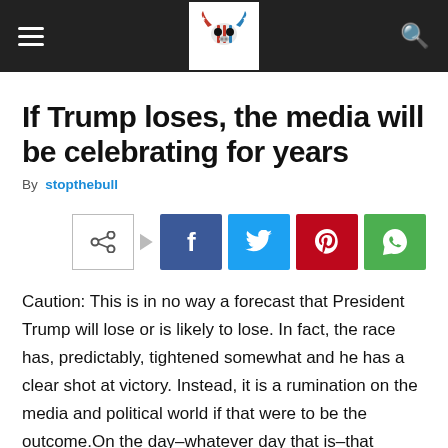stopthebull — navigation header with logo
If Trump loses, the media will be celebrating for years
By stopthebull
[Figure (infographic): Social share buttons: share icon, Facebook, Twitter, Pinterest, WhatsApp]
Caution: This is in no way a forecast that President Trump will lose or is likely to lose. In fact, the race has, predictably, tightened somewhat and he has a clear shot at victory. Instead, it is a rumination on the media and political world if that were to be the outcome. On the day–whatever day that is–that Donald Trump loses his reelection bid, the winner will be